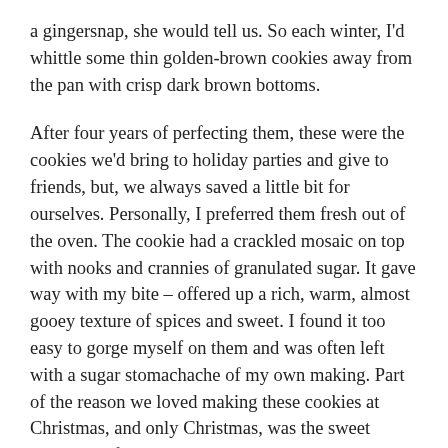a gingersnap, she would tell us. So each winter, I'd whittle some thin golden-brown cookies away from the pan with crisp dark brown bottoms.
After four years of perfecting them, these were the cookies we'd bring to holiday parties and give to friends, but, we always saved a little bit for ourselves. Personally, I preferred them fresh out of the oven. The cookie had a crackled mosaic on top with nooks and crannies of granulated sugar. It gave way with my bite – offered up a rich, warm, almost gooey texture of spices and sweet. I found it too easy to gorge myself on them and was often left with a sugar stomachache of my own making. Part of the reason we loved making these cookies at Christmas, and only Christmas, was the sweet aroma that filled the house. The cinnamon, cloves, and ginger would waft all the way upstairs, filling the house with a smell no candle could ever match. There was no better time than sitting in my warm, cinnamon-filled house, sampling a bit of my hard work.